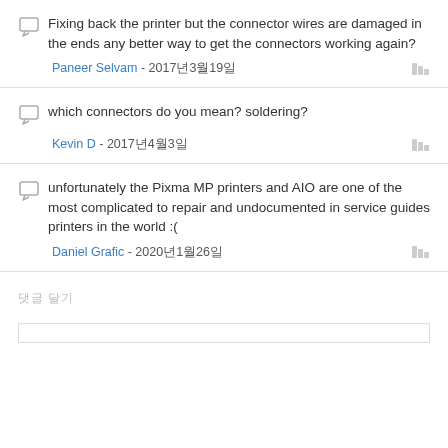Fixing back the printer but the connector wires are damaged in the ends any better way to get the connectors working again?
Paneer Selvam - 2017年3月19日
which connectors do you mean? soldering?
Kevin D - 2017年4月3日
unfortunately the Pixma MP printers and AIO are one of the most complicated to repair and undocumented in service guides printers in the world :(
Daniel Grafic - 2020年1月26日
댓글 달기